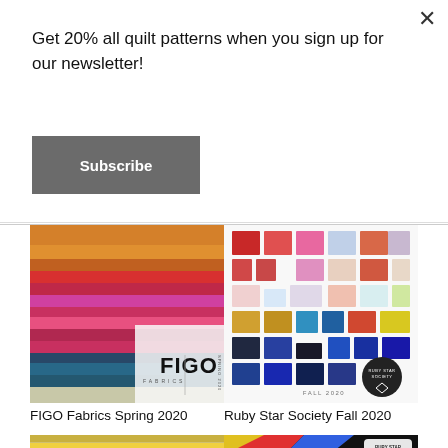Get 20% all quilt patterns when you sign up for our newsletter!
Subscribe
[Figure (photo): Stack of colorful folded fabric swatches with FIGO Fabrics logo overlay, Spring 2020 collection]
FIGO Fabrics Spring 2020
[Figure (photo): Grid of colorful fabric swatches arranged on white background with Ruby Star Society diamond badge, Fall 2020]
Ruby Star Society Fall 2020
[Figure (photo): Partial view of striped and patterned fabric collection]
[Figure (photo): Ruby Star Society Winter 2021 catalog cover with geometric pinwheel design on dark background]